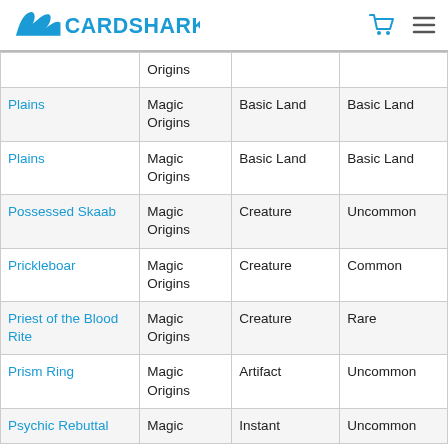CardShark
| Card Name | Set | Type | Rarity |
| --- | --- | --- | --- |
| (partial row) | Origins |  |  |
| Plains | Magic Origins | Basic Land | Basic Land |
| Plains | Magic Origins | Basic Land | Basic Land |
| Possessed Skaab | Magic Origins | Creature | Uncommon |
| Prickleboar | Magic Origins | Creature | Common |
| Priest of the Blood Rite | Magic Origins | Creature | Rare |
| Prism Ring | Magic Origins | Artifact | Uncommon |
| Psychic Rebuttal | Magic | Instant | Uncommon |